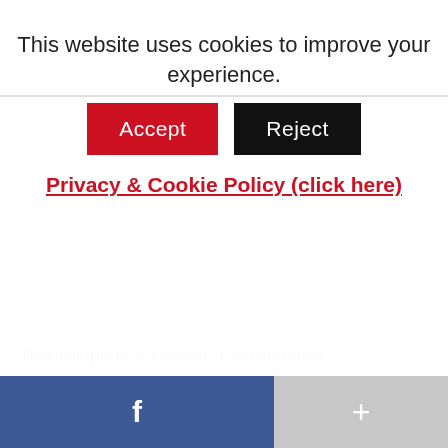This website uses cookies to improve your experience.
Accept | Reject
Privacy & Cookie Policy (click here)
This recipe is a keeper! My husband thought it tasted like Alfredo Mac and Cheese. I'm very glad I used brown rice elbow noodles so I could enjoy it, too. Other than that, no substitutions were made. Next time, my family requested that we skip the oven, and enjoy from the